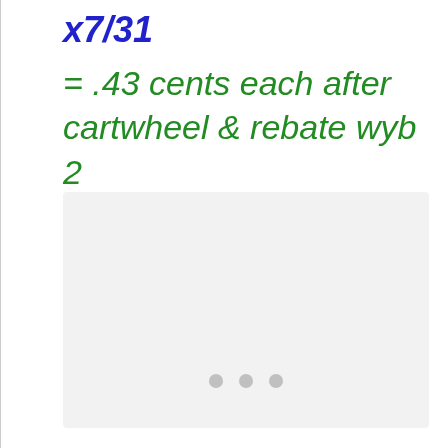x7/31
= .43 cents each after cartwheel & rebate wyb 2
[Figure (other): Light gray rectangular image placeholder area with three small gray dots at the bottom center, indicating a loading or empty image carousel.]